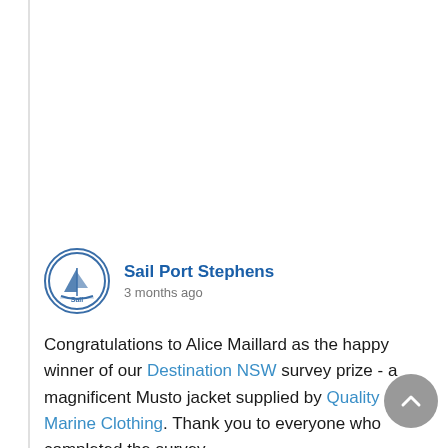[Figure (logo): Sail Port Stephens circular logo with sailboat icon]
Sail Port Stephens
3 months ago
Congratulations to Alice Maillard as the happy winner of our Destination NSW survey prize - a magnificent Musto jacket supplied by Quality Marine Clothing. Thank you to everyone who completed the survey.
Photo